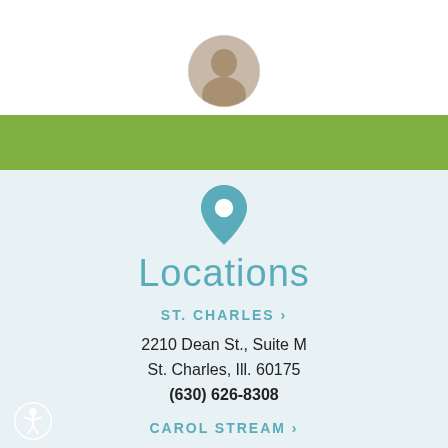[Figure (photo): Circular profile photo of a person at top of page]
Locations
ST. CHARLES ›
2210 Dean St., Suite M
St. Charles, Ill. 60175
(630) 626-8308
CAROL STREAM ›
389 S. Schmale Road
Carol Stream, Ill. 60188